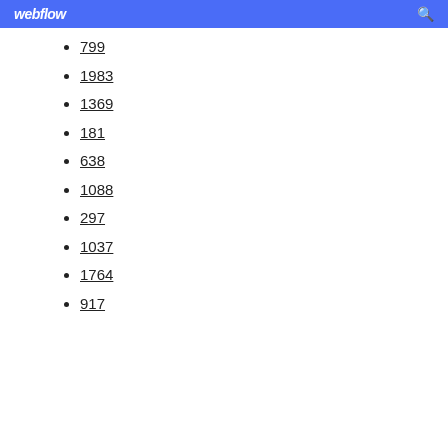webflow
799
1983
1369
181
638
1088
297
1037
1764
917